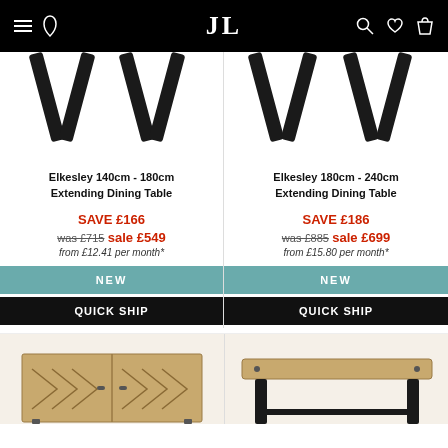JL furniture store navigation header
[Figure (photo): Table legs of Elkesley 140cm-180cm Extending Dining Table, black metal legs on white background]
Elkesley 140cm - 180cm Extending Dining Table
SAVE £166
was £715 sale £549
from £12.41 per month*
NEW
QUICK SHIP
[Figure (photo): Table legs of Elkesley 180cm-240cm Extending Dining Table, black metal legs on white background]
Elkesley 180cm - 240cm Extending Dining Table
SAVE £186
was £885 sale £699
from £15.80 per month*
NEW
QUICK SHIP
[Figure (photo): Wooden cabinet with chevron pattern doors, natural wood finish]
[Figure (photo): Wooden bench or table with black metal legs, natural wood top]